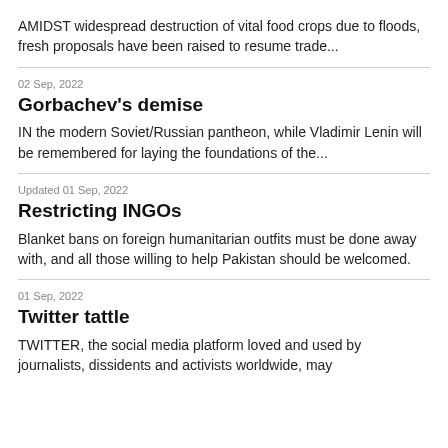AMIDST widespread destruction of vital food crops due to floods, fresh proposals have been raised to resume trade...
02 Sep, 2022
Gorbachev's demise
IN the modern Soviet/Russian pantheon, while Vladimir Lenin will be remembered for laying the foundations of the...
Updated 01 Sep, 2022
Restricting INGOs
Blanket bans on foreign humanitarian outfits must be done away with, and all those willing to help Pakistan should be welcomed.
01 Sep, 2022
Twitter tattle
TWITTER, the social media platform loved and used by journalists, dissidents and activists worldwide, may